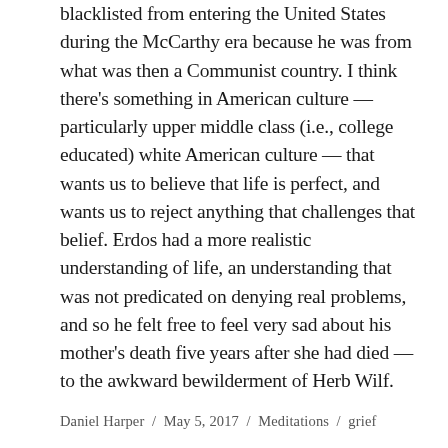blacklisted from entering the United States during the McCarthy era because he was from what was then a Communist country. I think there's something in American culture — particularly upper middle class (i.e., college educated) white American culture — that wants us to believe that life is perfect, and wants us to reject anything that challenges that belief. Erdos had a more realistic understanding of life, an understanding that was not predicated on denying real problems, and so he felt free to feel very sad about his mother's death five years after she had died — to the awkward bewilderment of Herb Wilf.
Daniel Harper / May 5, 2017 / Meditations / grief